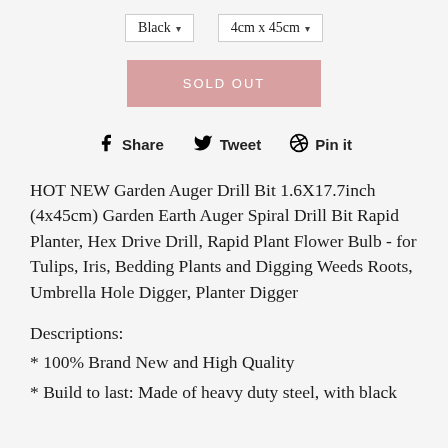Black ▾   4cm x 45cm ▾
[Figure (other): SOLD OUT button in dusty rose/pink color]
Share   Tweet   Pin it
HOT NEW Garden Auger Drill Bit 1.6X17.7inch (4x45cm) Garden Earth Auger Spiral Drill Bit Rapid Planter, Hex Drive Drill, Rapid Plant Flower Bulb - for Tulips, Iris, Bedding Plants and Digging Weeds Roots, Umbrella Hole Digger, Planter Digger
Descriptions:
* 100% Brand New and High Quality
* Build to last: Made of heavy duty steel, with black